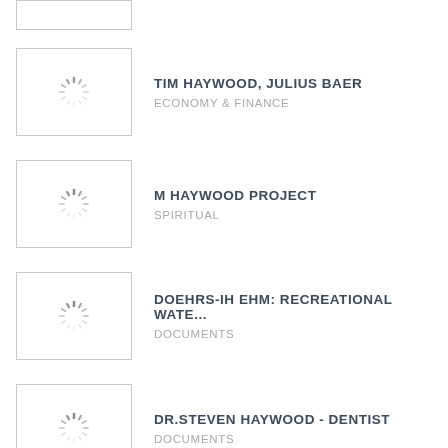[Figure (screenshot): Partial top thumbnail placeholder box (cropped at top of page)]
TIM HAYWOOD, JULIUS BAER
ECONOMY & FINANCE
M HAYWOOD PROJECT
SPIRITUAL
DOEHRS-IH EHM: RECREATIONAL WATE...
DOCUMENTS
DR.STEVEN HAYWOOD - DENTIST
DOCUMENTS
View More